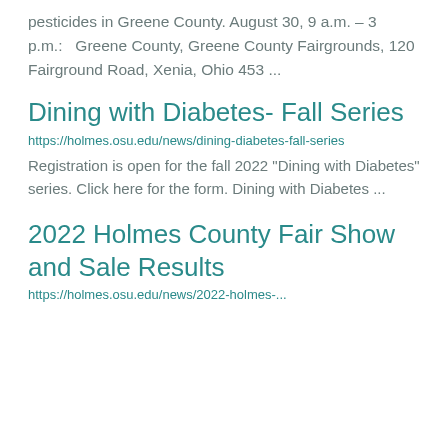pesticides in Greene County. August 30, 9 a.m. – 3 p.m.:   Greene County, Greene County Fairgrounds, 120 Fairground Road, Xenia, Ohio 453 ...
Dining with Diabetes- Fall Series
https://holmes.osu.edu/news/dining-diabetes-fall-series
Registration is open for the fall 2022 "Dining with Diabetes" series. Click here for the form. Dining with Diabetes ...
2022 Holmes County Fair Show and Sale Results
https://holmes.osu.edu/news/2022-holmes-...